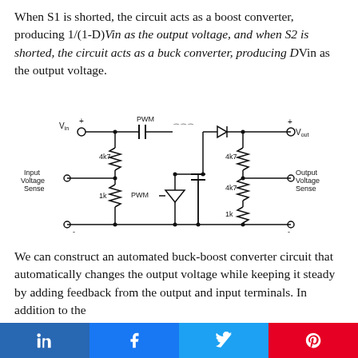When S1 is shorted, the circuit acts as a boost converter, producing 1/(1-D)Vin as the output voltage, and when S2 is shorted, the circuit acts as a buck converter, producing DVin as the output voltage.
[Figure (circuit-diagram): Buck-boost converter circuit diagram showing Vin input, two PWM switches, inductor, diode, capacitor, and Vout output with resistor dividers for input voltage sense and output voltage sense.]
We can construct an automated buck-boost converter circuit that automatically changes the output voltage while keeping it steady by adding feedback from the output and input terminals. In addition to the